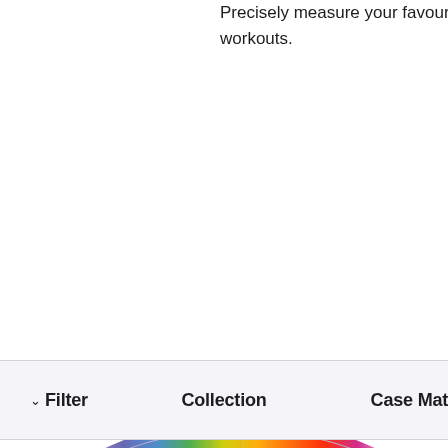Precisely measure your favourite workouts.
can call a iPhone.¹ Setup to members iPhone.²
Filter
Collection
Case Mate
[Figure (photo): Apple Watch SE with Pride Edition Sport Loop band featuring rainbow woven pattern, showing colorful vertical stripes watch face. Partial view of another Apple Watch on the right edge.]